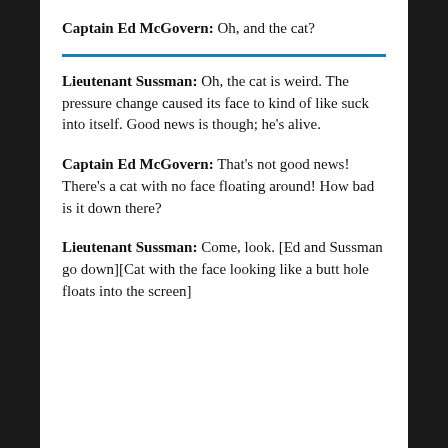Captain Ed McGovern: Oh, and the cat?
Lieutenant Sussman: Oh, the cat is weird. The pressure change caused its face to kind of like suck into itself. Good news is though; he's alive.
Captain Ed McGovern: That's not good news! There's a cat with no face floating around! How bad is it down there?
Lieutenant Sussman: Come, look. [Ed and Sussman go down][Cat with the face looking like a butt hole floats into the screen]